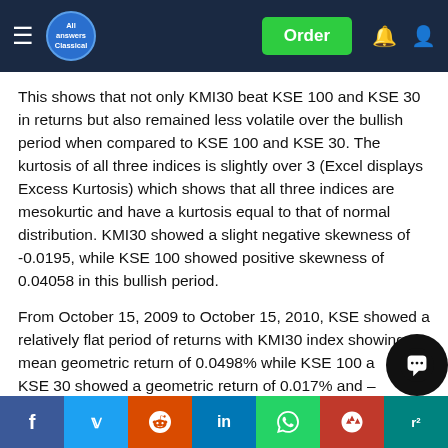All Answers | Order
This shows that not only KMI30 beat KSE 100 and KSE 30 in returns but also remained less volatile over the bullish period when compared to KSE 100 and KSE 30. The kurtosis of all three indices is slightly over 3 (Excel displays Excess Kurtosis) which shows that all three indices are mesokurtic and have a kurtosis equal to that of normal distribution. KMI30 showed a slight negative skewness of -0.0195, while KSE 100 showed positive skewness of 0.04058 in this bullish period.
From October 15, 2009 to October 15, 2010, KSE showed a relatively flat period of returns with KMI30 index showing a mean geometric return of 0.0498% while KSE 100 and KSE 30 showed a geometric return of 0.017% and –0.0249% respectively. The KMI30 again outperformed KSE 100 and KSE 30 as the mean geometric returns at a KSE 30 had negative mean returns in this period. KMI30 also